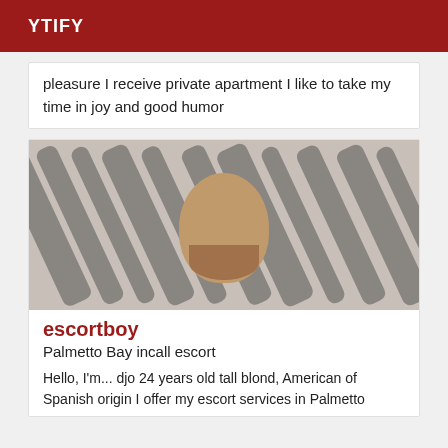YTIFY
pleasure I receive private apartment I like to take my time in joy and good humor
[Figure (photo): Photo of a young man lying on a zebra-striped pillow or surface, looking at the camera]
escortboy
Palmetto Bay incall escort
Hello, I'm... djo 24 years old tall blond, American of Spanish origin I offer my escort services in Palmetto